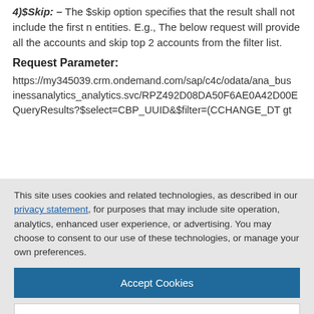4)$Skip: – The $skip option specifies that the result shall not include the first n entities. E.g., The below request will provide all the accounts and skip top 2 accounts from the filter list.
Request Parameter:
https://my345039.crm.ondemand.com/sap/c4c/odata/ana_businessanalytics_analytics.svc/RPZ492D08DA50F6AE0A42D00EQueryResults?$select=CBP_UUID&$filter=(CCHANGE_DT gt
This site uses cookies and related technologies, as described in our privacy statement, for purposes that may include site operation, analytics, enhanced user experience, or advertising. You may choose to consent to our use of these technologies, or manage your own preferences.
Accept Cookies
More Information
Privacy Policy | Powered by: TrustArc
without having Access for it. To overcome this problem, we must